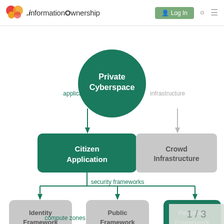.informationOwnership — Log In
[Figure (flowchart): Hierarchical flowchart showing Private Cyberspace (dark green circle) at top, branching left via 'application' arrow to Citizen Application (dark green box), and right via 'infrastructure' arrow (gray) to Crowd Infrastructure (gray box). Citizen Application branches down via 'security frameworks' to three nodes: Identity Framework (gray), Public Framework (gray), Personal Framework (dark green). Below shows 'compute zones' label and partial boxes. Page indicator '1 / 3' in bottom-right corner.]